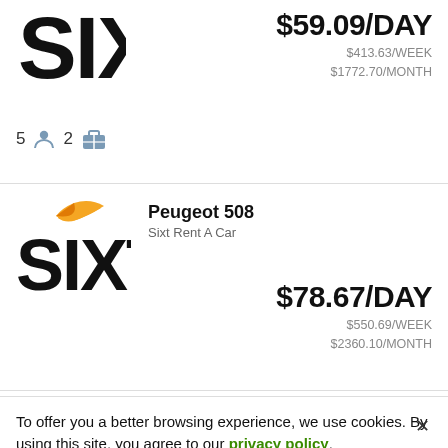[Figure (logo): Sixt Rent A Car logo (top, partially clipped) - black stylized SIXT letters]
$59.09/DAY
$413.63/WEEK
$1772.70/MONTH
5  2
[Figure (logo): Sixt Rent A Car logo - black SIXT letters with orange swoosh]
Peugeot 508
Sixt Rent A Car
$78.67/DAY
$550.69/WEEK
$2360.10/MONTH
To offer you a better browsing experience, we use cookies. By using this site, you agree to our privacy policy.